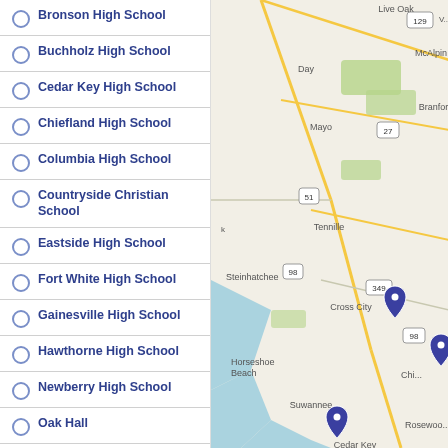Bronson High School
Buchholz High School
Cedar Key High School
Chiefland High School
Columbia High School
Countryside Christian School
Eastside High School
Fort White High School
Gainesville High School
Hawthorne High School
Newberry High School
Oak Hall
PK Yonge Research Developmental School
Riverside Christian School
[Figure (map): Google Maps view of north-central Florida Gulf Coast region showing locations of schools as blue map pins. Visible place names include Live Oak, McAlpin, Day, Mayo, Branford, Tennille, Steinhatchee, Cross City, Horseshoe Beach, Suwannee, Rosewood, Cedar Key. Route numbers 129, 27, 51, 98, 349 visible. Blue water (Gulf of Mexico) in lower left.]